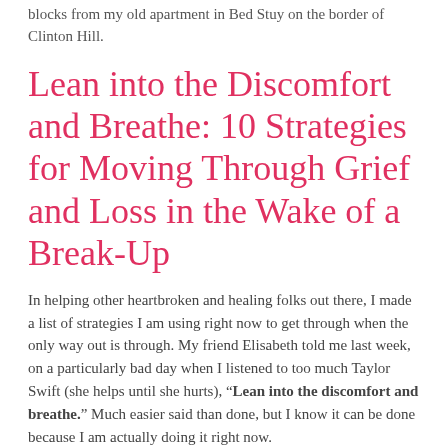blocks from my old apartment in Bed Stuy on the border of Clinton Hill.
Lean into the Discomfort and Breathe: 10 Strategies for Moving Through Grief and Loss in the Wake of a Break-Up
In helping other heartbroken and healing folks out there, I made a list of strategies I am using right now to get through when the only way out is through. My friend Elisabeth told me last week, on a particularly bad day when I listened to too much Taylor Swift (she helps until she hurts), “Lean into the discomfort and breathe.” Much easier said than done, but I know it can be done because I am actually doing it right now.